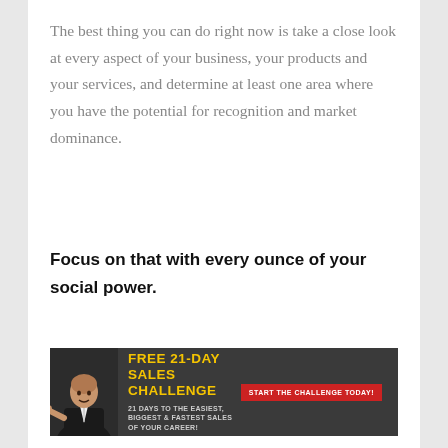The best thing you can do right now is take a close look at every aspect of your business, your products and your services, and determine at least one area where you have the potential for recognition and market dominance.
Focus on that with every ounce of your social power.
[Figure (infographic): Dark banner advertisement: 'FREE 21-DAY SALES CHALLENGE' in yellow bold text, with a man in a suit pointing, subtext '21 DAYS TO THE EASIEST, BIGGEST & FASTEST SALES OF YOUR CAREER!' and a red button 'START THE CHALLENGE TODAY!']